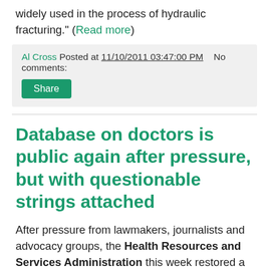widely used in the process of hydraulic fracturing." (Read more)
Al Cross Posted at 11/10/2011 03:47:00 PM   No comments:
Database on doctors is public again after pressure, but with questionable strings attached
After pressure from lawmakers, journalists and advocacy groups, the Health Resources and Services Administration this week restored a data file it removed from public view in September, reports Abby Henkel for the Society of Professional Journalists. Pia Christensen of Covering Health reports that HRSA first removed the Public Use File of the National Practitioner Data Bank, a resource for journalists and the public to learn about malpractice and disciplinary cases against doctors, because "the agency